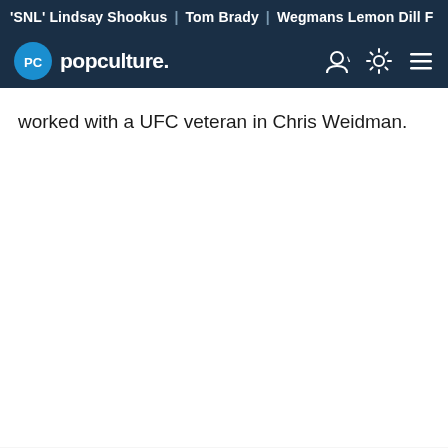'SNL' Lindsay Shookus | Tom Brady | Wegmans Lemon Dill F
[Figure (logo): Popculture.com logo with PC circle icon and navigation icons]
worked with a UFC veteran in Chris Weidman.